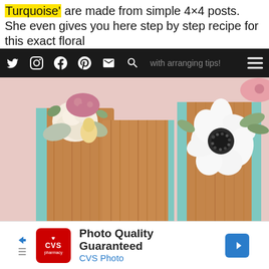Turquoise' are made from simple 4×4 posts. She even gives you here step by step recipe for this exact floral arrangement or ... with arranging tips!
[Figure (photo): Close-up photograph of wooden block vases (4x4 posts) with turquoise painted edges, filled with white roses, anemones, pink sedum, and mixed florals arranged on a pink background.]
Photo Quality Guaranteed
CVS Photo